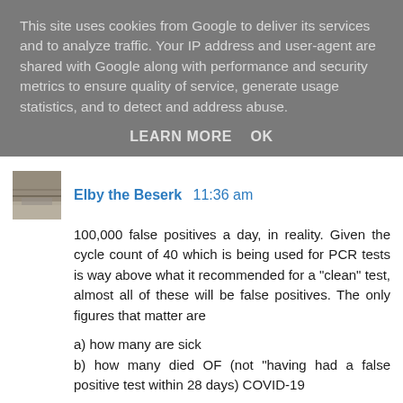This site uses cookies from Google to deliver its services and to analyze traffic. Your IP address and user-agent are shared with Google along with performance and security metrics to ensure quality of service, generate usage statistics, and to detect and address abuse.
LEARN MORE    OK
[Figure (photo): Small square avatar image showing a road/outdoor scene in sepia/grayscale tones]
Elby the Beserk  11:36 am
100,000 false positives a day, in reality. Given the cycle count of 40 which is being used for PCR tests is way above what it recommended for a "clean" test, almost all of these will be false positives. The only figures that matter are
a) how many are sick
b) how many died OF (not "having had a false positive test within 28 days) COVID-19
Everything else is just crap. Weaponised stats to keep us frightened.